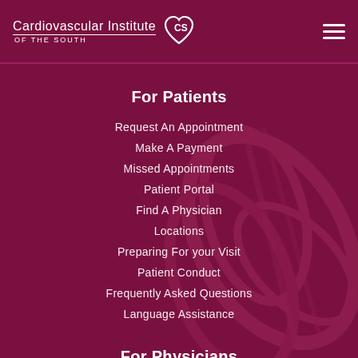Cardiovascular Institute OF THE SOUTH
For Patients
Request An Appointment
Make A Payment
Missed Appointments
Patient Portal
Find A Physician
Locations
Preparing For your Visit
Patient Conduct
Frequently Asked Questions
Language Assistance
For Physicians